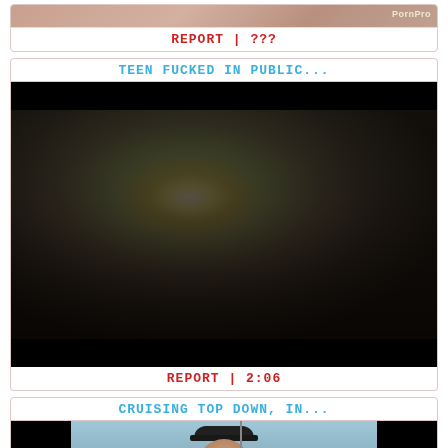[Figure (screenshot): Partial video thumbnail at top of page showing skin-toned image with PornPro watermark]
REPORT | ???
TEEN FUCKED IN PUBLIC...
[Figure (screenshot): Video thumbnail showing outdoor scene with bright light and figures]
REPORT | 2:06
CRUISING TOP DOWN, IN...
[Figure (screenshot): Video thumbnail showing person in cap and sunglasses outdoors with black bars on sides]